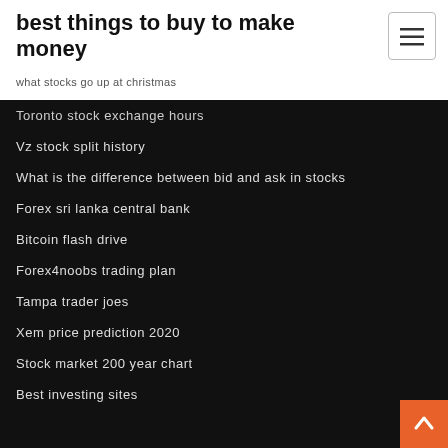best things to buy to make money
what stocks go up at christmas
Toronto stock exchange hours
Vz stock split history
What is the difference between bid and ask in stocks
Forex sri lanka central bank
Bitcoin flash drive
Forex4noobs trading plan
Tampa trader joes
Xem price prediction 2020
Stock market 200 year chart
Best investing sites